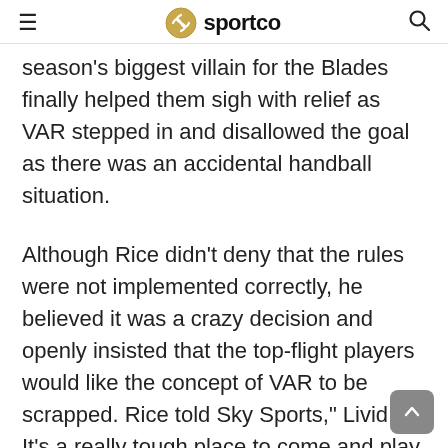sportco
season's biggest villain for the Blades finally helped them sigh with relief as VAR stepped in and disallowed the goal as there was an accidental handball situation.
Although Rice didn't deny that the rules were not implemented correctly, he believed it was a crazy decision and openly insisted that the top-flight players would like the concept of VAR to be scrapped. Rice told Sky Sports," Livid. It's a really tough place to come and play. I thought we did well. A point on